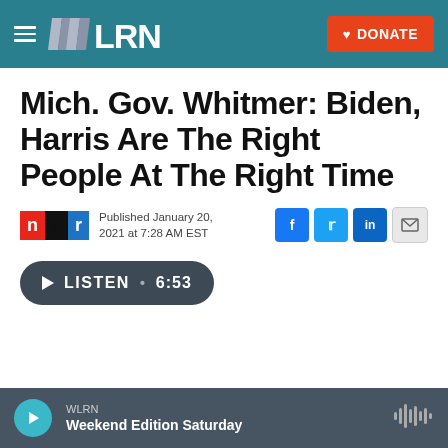WLRN — DONATE
Mich. Gov. Whitmer: Biden, Harris Are The Right People At The Right Time
Published January 20, 2021 at 7:28 AM EST
[Figure (infographic): Listen button: LISTEN • 6:53]
WLRN — Weekend Edition Saturday